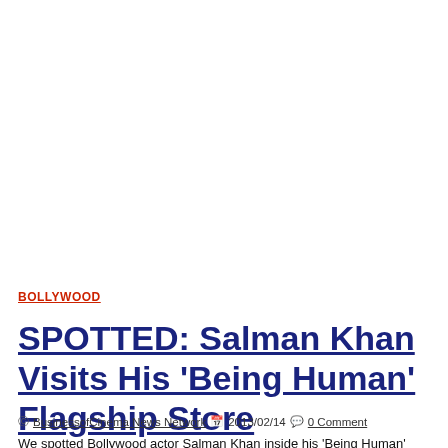BOLLYWOOD
SPOTTED: Salman Khan Visits His 'Being Human' Flagship Store
© BusinessofCinema News Network  2013/02/14  0 Comment
We spotted Bollywood actor Salman Khan inside his 'Being Human' Prin…